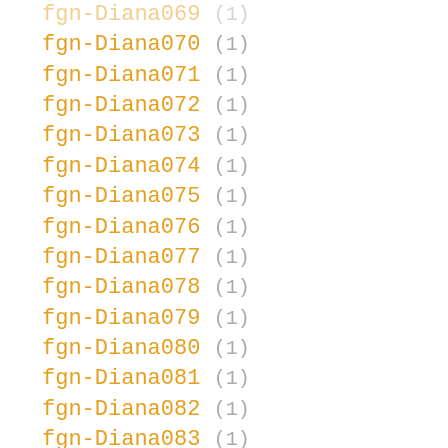fgn-Diana069 (1)
fgn-Diana070 (1)
fgn-Diana071 (1)
fgn-Diana072 (1)
fgn-Diana073 (1)
fgn-Diana074 (1)
fgn-Diana075 (1)
fgn-Diana076 (1)
fgn-Diana077 (1)
fgn-Diana078 (1)
fgn-Diana079 (1)
fgn-Diana080 (1)
fgn-Diana081 (1)
fgn-Diana082 (1)
fgn-Diana083 (1)
fgn-Diana084 (1)